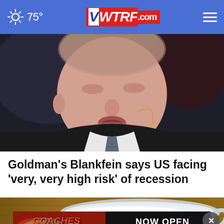75° | WTRF.com
[Figure (photo): Close-up photo of a man (Lloyd Blankfein) speaking, wearing a suit and tie with a small microphone earpiece, against a dark background.]
Goldman's Blankfein says US facing 'very, very high risk' of recession
[Figure (photo): Photo of a plastic measuring scoop filled with white powder/salt on a wooden surface, with a Coaches Burger Bar advertisement overlay at the bottom reading 'NOW OPEN OHIO VALLEY MALL'.]